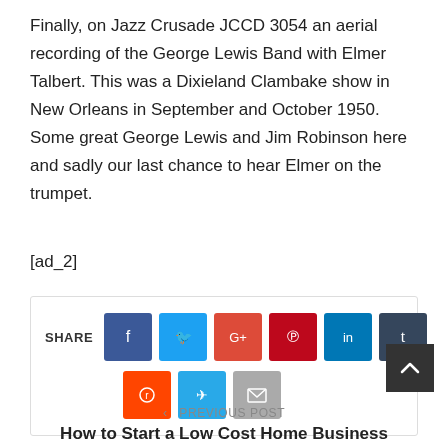Finally, on Jazz Crusade JCCD 3054 an aerial recording of the George Lewis Band with Elmer Talbert. This was a Dixieland Clambake show in New Orleans in September and October 1950. Some great George Lewis and Jim Robinson here and sadly our last chance to hear Elmer on the trumpet.
[ad_2]
[Figure (infographic): Social media share buttons: Facebook, Twitter, Google+, Pinterest, LinkedIn, Tumblr (row 1); Reddit, Telegram, Email (row 2)]
< PREVIOUS POST
How to Start a Low Cost Home Business